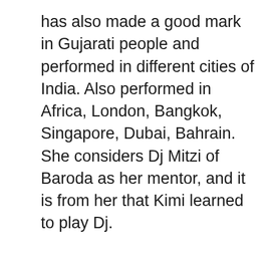has also made a good mark in Gujarati people and performed in different cities of India. Also performed in Africa, London, Bangkok, Singapore, Dubai, Bahrain. She considers Dj Mitzi of Baroda as her mentor, and it is from her that Kimi learned to play Dj.